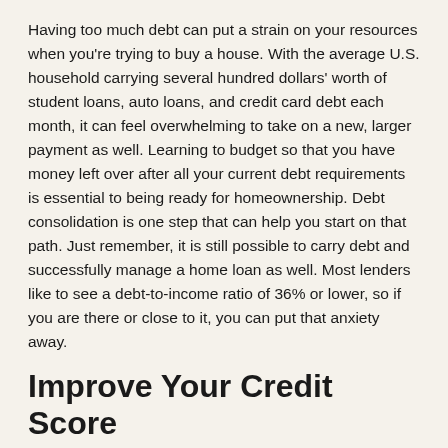Having too much debt can put a strain on your resources when you're trying to buy a house. With the average U.S. household carrying several hundred dollars' worth of student loans, auto loans, and credit card debt each month, it can feel overwhelming to take on a new, larger payment as well. Learning to budget so that you have money left over after all your current debt requirements is essential to being ready for homeownership. Debt consolidation is one step that can help you start on that path. Just remember, it is still possible to carry debt and successfully manage a home loan as well. Most lenders like to see a debt-to-income ratio of 36% or lower, so if you are there or close to it, you can put that anxiety away.
Improve Your Credit Score
Having a decent credit score is important for being approved for mortgage financing as well as for getting good interest rates and terms. While most loans require a FICO credit score of 620 or higher, there are some types (i.e., VA loans) that will accept lower numbers. If your